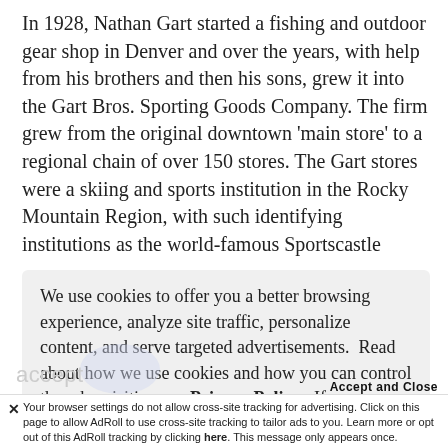In 1928, Nathan Gart started a fishing and outdoor gear shop in Denver and over the years, with help from his brothers and then his sons, grew it into the Gart Bros. Sporting Goods Company. The firm grew from the original downtown 'main store' to a regional chain of over 150 stores. The Gart stores were a skiing and sports institution in the Rocky Mountain Region, with such identifying institutions as the world-famous Sportscastle
We use cookies to offer you a better browsing experience, analyze site traffic, personalize content, and serve targeted advertisements.  Read about how we use cookies and how you can control them by visiting our Privacy Policy.  If you continue to use this site, you consent to the use of cookies.
Accept and Close
✕ Your browser settings do not allow cross-site tracking for advertising. Click on this page to allow AdRoll to use cross-site tracking to tailor ads to you. Learn more or opt out of this AdRoll tracking by clicking here. This message only appears once.